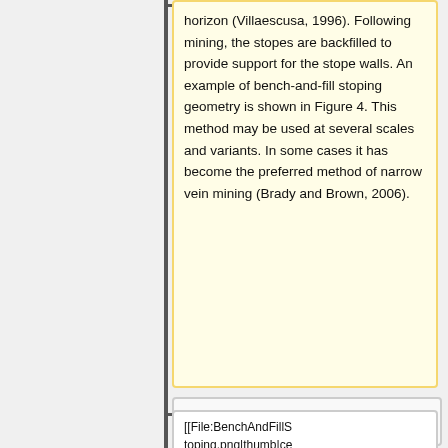horizon (Villaescusa, 1996). Following mining, the stopes are backfilled to provide support for the stope walls. An example of bench-and-fill stoping geometry is shown in Figure 4. This method may be used at several scales and variants. In some cases it has become the preferred method of narrow vein mining (Brady and Brown, 2006).
[[File:BenchAndFillStoping.png|thumb|centred|400px|alt=A